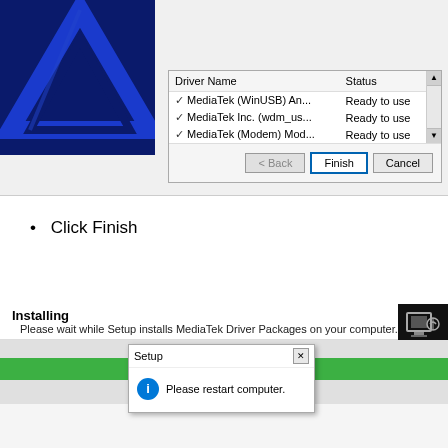[Figure (screenshot): Windows installer dialog showing a list of drivers: MediaTek (WinUSB) An... Ready to use, MediaTek Inc. (wdm_us... Ready to use, MediaTek (Modem) Mod... Ready to use. Buttons: Back, Finish, Cancel.]
Click Finish
[Figure (screenshot): Windows installer 'Installing' screen showing 'Please wait while Setup installs MediaTek Driver Packages on your computer.' with a progress bar and a Setup dialog popup saying 'Please restart computer.']